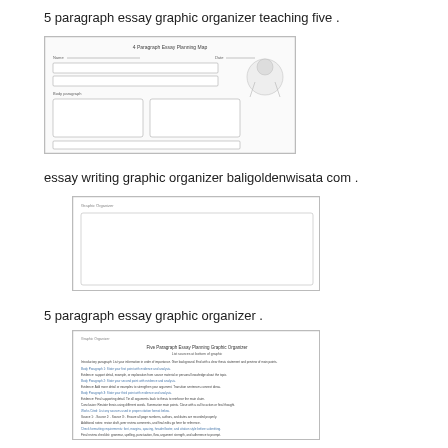5 paragraph essay graphic organizer teaching five .
[Figure (illustration): Thumbnail of a 4-paragraph essay planning map graphic organizer worksheet with text boxes and two large content boxes side by side, plus a cartoon image in top right corner.]
essay writing graphic organizer baligoldenwisata com .
[Figure (illustration): Thumbnail of a blank graphic organizer worksheet with a large empty white box area.]
5 paragraph essay graphic organizer .
[Figure (illustration): Thumbnail of a dense text-heavy graphic organizer or essay document with small text and colored hyperlinks throughout.]